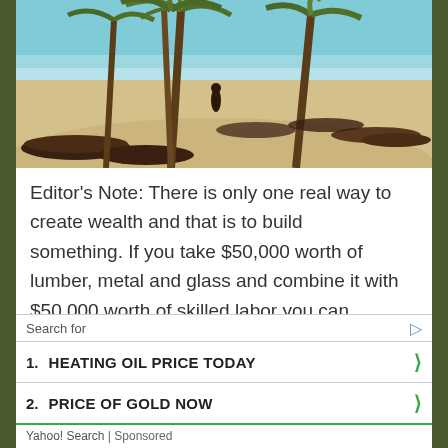[Figure (photo): Tropical beach scene with palm trees, wooden canoes on sandy shore, and calm sea in the background]
Editor's Note: There is only one real way to create wealth and that is to build something. If you take $50,000 worth of lumber, metal and glass and combine it with $50,000 worth of skilled labor you can come up with a $150,000 house. You have in effect created $50,000 out of thin air. Or by machining a $2.00 lump of metal you can create a $20.00 gear or a $200 watch. It all depends on the skillful application of
Search for
1. HEATING OIL PRICE TODAY
2. PRICE OF GOLD NOW
Yahoo! Search | Sponsored